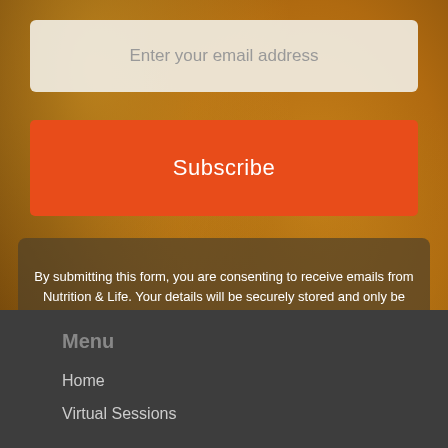[Figure (photo): Warm orange-brown food background with baked goods (pumpkin or tart), partially visible]
Enter your email address
Subscribe
By submitting this form, you are consenting to receive emails from Nutrition & Life. Your details will be securely stored and only be used to inform you of occasional nutrition secrets, deals or giveaways. You can unsubscribe at any time at the bottom of our emails.
Menu
Home
Virtual Sessions